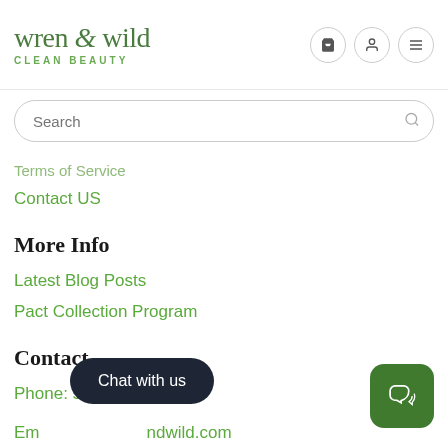[Figure (logo): Wren & Wild Clean Beauty logo with navigation icons (cart, user, menu)]
[Figure (screenshot): Search bar input field]
Terms of Service
Contact US
More Info
Latest Blog Posts
Pact Collection Program
Contact
Phone: 541.480.3252
Email: …@wrenandwild.com
112 NW Minnesota Avenue Bend, Oregon 97703